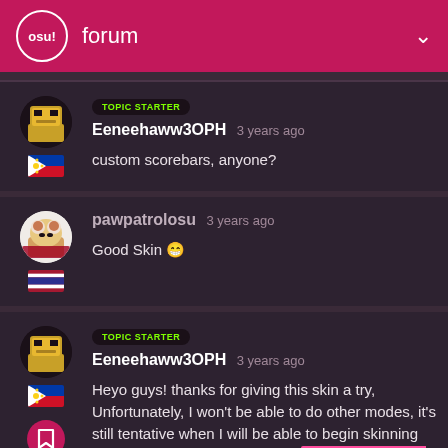osu! forum
TOPIC STARTER
Eeneehaww3OPH 3 years ago
custom scorebars, anyone?
pawpatrolosu 3 years ago
Good Skin 😁
TOPIC STARTER
Eeneehaww3OPH 3 years ago
Heyo guys! thanks for giving this skin a try, Unfortunately, I won't be able to do other modes, it's still tentative when I will be able to begin skinning for the other modes, due to me having a work now (and sick rn, sadly)
2 / 11